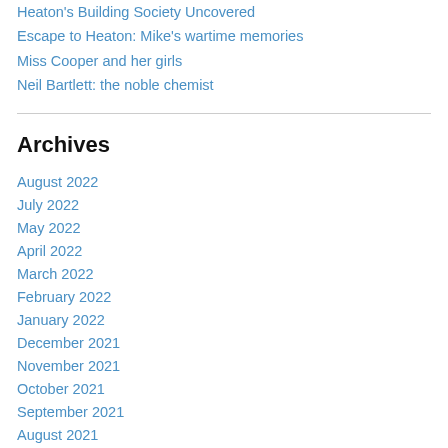Heaton's Building Society Uncovered
Escape to Heaton: Mike's wartime memories
Miss Cooper and her girls
Neil Bartlett: the noble chemist
Archives
August 2022
July 2022
May 2022
April 2022
March 2022
February 2022
January 2022
December 2021
November 2021
October 2021
September 2021
August 2021
July 2021